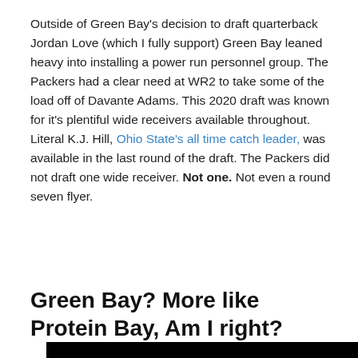Outside of Green Bay's decision to draft quarterback Jordan Love (which I fully support) Green Bay leaned heavy into installing a power run personnel group. The Packers had a clear need at WR2 to take some of the load off of Davante Adams. This 2020 draft was known for it's plentiful wide receivers available throughout. Literal K.J. Hill, Ohio State's all time catch leader, was available in the last round of the draft. The Packers did not draft one wide receiver. Not one. Not even a round seven flyer.
Green Bay? More like Protein Bay, Am I right?
[Figure (photo): Black image block at the bottom of the page]